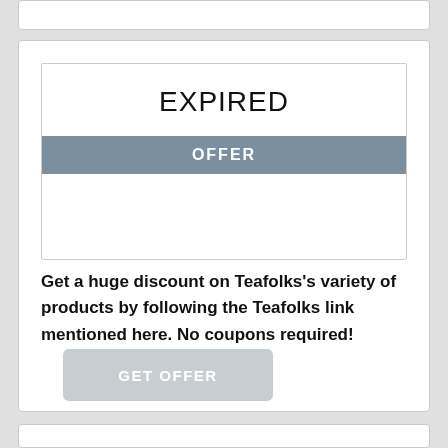EXPIRED
OFFER
Get a huge discount on Teafolks's variety of products by following the Teafolks link mentioned here. No coupons required!
GET OFFER